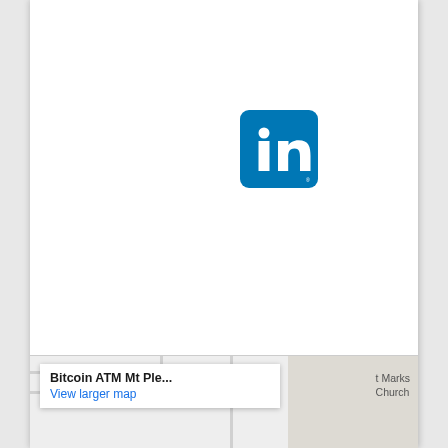[Figure (logo): LinkedIn logo: blue rounded square with white 'in' text and registered trademark symbol]
[Figure (logo): YouTube logo: red rounded square with white play button icon]
[Figure (logo): Twitter logo: light blue rounded square with white bird icon]
[Figure (map): Partial map screenshot showing 'Bitcoin ATM Mt Ple...' label with 'View larger map' link in blue, and 't Marks Church' label visible on gray area to the right]